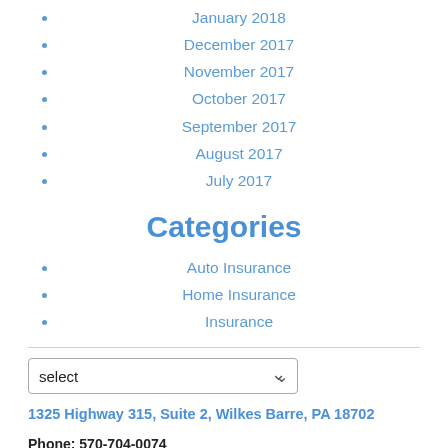January 2018
December 2017
November 2017
October 2017
September 2017
August 2017
July 2017
Categories
Auto Insurance
Home Insurance
Insurance
select
1325 Highway 315, Suite 2, Wilkes Barre, PA 18702
Phone: 570-704-0074
Fax: 570-704-0087
Email: sean.shay@theshayagency.com